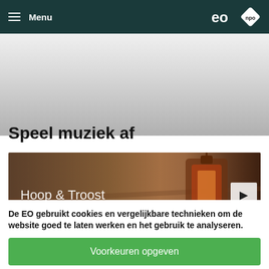≡ Menu  eo  npo
Speel muziek af
[Figure (photo): Music playlist card showing 'Hoop & Troost' with a background image of wheat field and a lantern, with a play button on the right]
De EO gebruikt cookies en vergelijkbare technieken om de website goed te laten werken en het gebruik te analyseren.
Voorkeuren opgeven